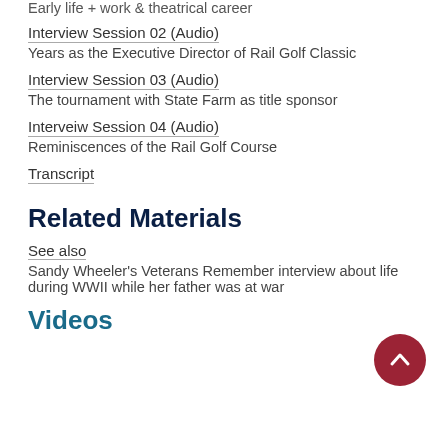Early life + work & theatrical career
Interview Session 02 (Audio)
Years as the Executive Director of Rail Golf Classic
Interview Session 03 (Audio)
The tournament with State Farm as title sponsor
Interveiw Session 04 (Audio)
Reminiscences of the Rail Golf Course
Transcript
Related Materials
See also
Sandy Wheeler's Veterans Remember interview about life during WWII while her father was at war
Videos